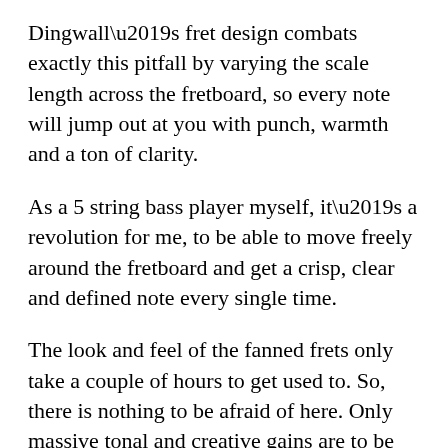Dingwall’s fret design combats exactly this pitfall by varying the scale length across the fretboard, so every note will jump out at you with punch, warmth and a ton of clarity.
As a 5 string bass player myself, it’s a revolution for me, to be able to move freely around the fretboard and get a crisp, clear and defined note every single time.
The look and feel of the fanned frets only take a couple of hours to get used to. So, there is nothing to be afraid of here. Only massive tonal and creative gains are to be made!
The bass sports a swamp ash body with a quilted maple top, maple fretboard and neck, which combined with Dingwall’s own neodymium pickups